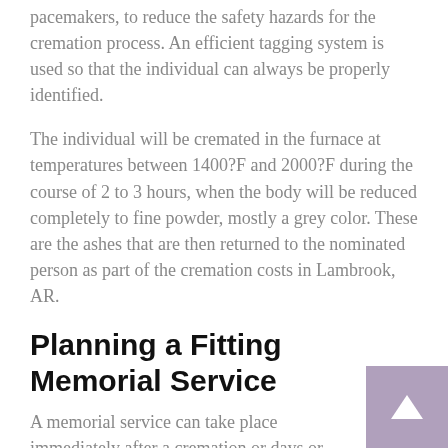pacemakers, to reduce the safety hazards for the cremation process. An efficient tagging system is used so that the individual can always be properly identified.
The individual will be cremated in the furnace at temperatures between 1400?F and 2000?F during the course of 2 to 3 hours, when the body will be reduced completely to fine powder, mostly a grey color. These are the ashes that are then returned to the nominated person as part of the cremation costs in Lambrook, AR.
Planning a Fitting Memorial Service
A memorial service can take place immediately after a cremation or days or weeks later at a time that is convenient for all family members to be able to attend. Many people will find that a